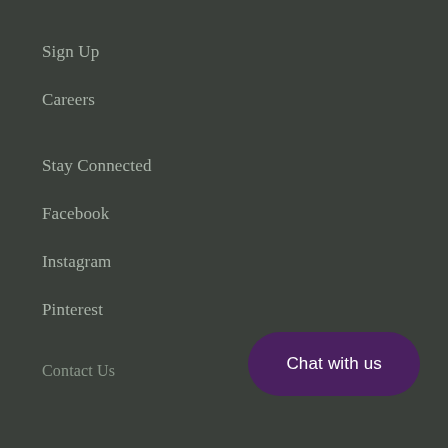Sign Up
Careers
Stay Connected
Facebook
Instagram
Pinterest
Chat with us
Contact Us